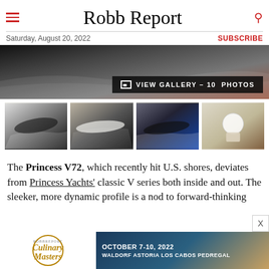Robb Report
Saturday, August 20, 2022
SUBSCRIBE
[Figure (photo): Hero image of a yacht at speed with wake spray, dark water background. Overlay button reads: VIEW GALLERY – 10 PHOTOS]
[Figure (photo): Gallery of 4 yacht thumbnail photos: aerial view of dark-hulled yacht, side profile of white yacht underway, dark yacht at speed on blue water, deck seating area with white table and chairs]
The Princess V72, which recently hit U.S. shores, deviates from Princess Yachts' classic V series both inside and out. The sleeker, more dynamic profile is a nod to forward-thinking
[Figure (photo): Advertisement banner: Robb Report Culinary Masters, October 7-10, 2022, Waldorf Astoria Los Cabos Pedregal]